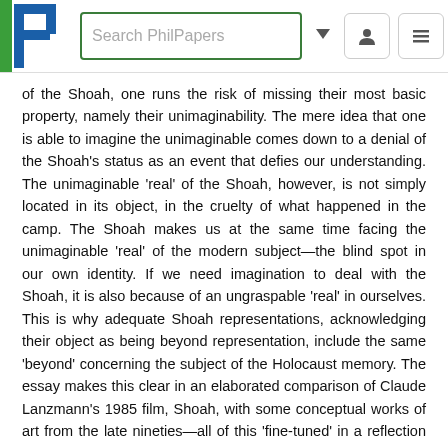[Figure (screenshot): PhilPapers website header with logo, search box, dropdown arrow, user icon, and hamburger menu icon]
of the Shoah, one runs the risk of missing their most basic property, namely their unimaginability. The mere idea that one is able to imagine the unimaginable comes down to a denial of the Shoah’s status as an event that defies our understanding. The unimaginable ‘real’ of the Shoah, however, is not simply located in its object, in the cruelty of what happened in the camp. The Shoah makes us at the same time facing the unimaginable ‘real’ of the modern subject—the blind spot in our own identity. If we need imagination to deal with the Shoah, it is also because of an ungraspable ‘real’ in ourselves. This is why adequate Shoah representations, acknowledging their object as being beyond representation, include the same ‘beyond’ concerning the subject of the Holocaust memory. The essay makes this clear in an elaborated comparison of Claude Lanzmann’s 1985 film, Shoah, with some conceptual works of art from the late nineties—all of this ‘fine-tuned’ in a reflection upon Ingmar Bergman’s Persona.
Keywords